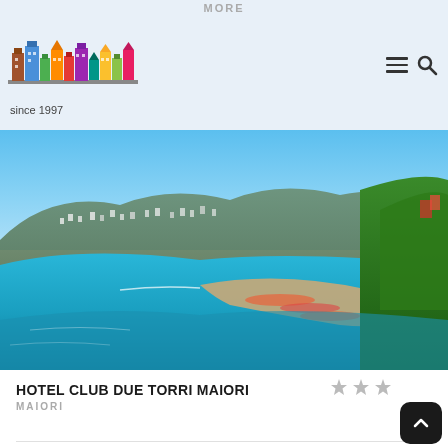MORE
[Figure (logo): Colorful buildings logo with 'since 1997' text below]
[Figure (photo): Aerial coastal view of Maiori, Amalfi Coast, Italy — turquoise sea, crescent beach with umbrellas, hillside town, green cliffside vegetation in foreground]
HOTEL CLUB DUE TORRI MAIORI
MAIORI
[Figure (other): 3-star hotel rating shown as three grey stars]